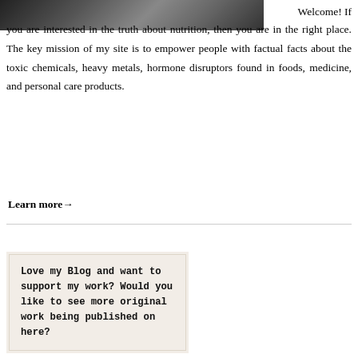[Figure (photo): Partial photo strip at top showing a person, cropped to a dark horizontal band]
Welcome! If you are interested in the truth about nutrition, then you are in the right place. The key mission of my site is to empower people with factual facts about the toxic chemicals, heavy metals, hormone disruptors found in foods, medicine, and personal care products.
Learn more →
Love my Blog and want to support my work? Would you like to see more original work being published on here?